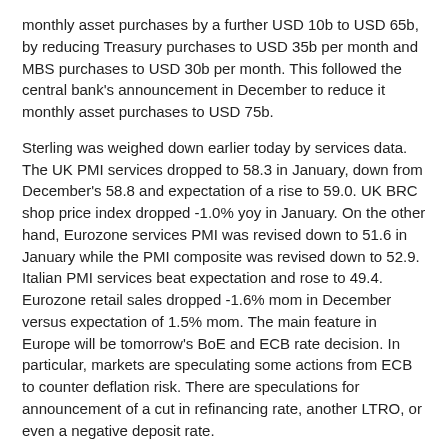monthly asset purchases by a further USD 10b to USD 65b, by reducing Treasury purchases to USD 35b per month and MBS purchases to USD 30b per month. This followed the central bank's announcement in December to reduce it monthly asset purchases to USD 75b.
Sterling was weighed down earlier today by services data. The UK PMI services dropped to 58.3 in January, down from December's 58.8 and expectation of a rise to 59.0. UK BRC shop price index dropped -1.0% yoy in January. On the other hand, Eurozone services PMI was revised down to 51.6 in January while the PMI composite was revised down to 52.9. Italian PMI services beat expectation and rose to 49.4. Eurozone retail sales dropped -1.6% mom in December versus expectation of 1.5% mom. The main feature in Europe will be tomorrow's BoE and ECB rate decision. In particular, markets are speculating some actions from ECB to counter deflation risk. There are speculations for announcement of a cut in refinancing rate, another LTRO, or even a negative deposit rate.
New Zealand dollar jumped sharply in Asian session after strong employment data. Q4 seasonally adjusted unemployment rate dropped to 6.0%, down from Q3's 6.2%, inline with expectations. Employment, grew 1.1% qoq, nearly double of expectation of 0.6% qoq, comparing to Q3's 1.2% qoq. RBNZ left OCR unchanged at 2.50% last week but governor Wheeler signaled imminent rate hike to curb inflation. And, "the scale and the speed of the rise in the OCR will depend on future economic